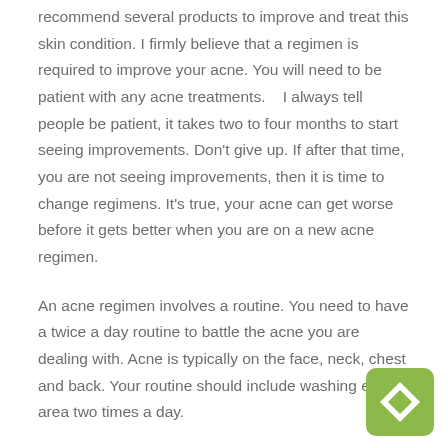recommend several products to improve and treat this skin condition. I firmly believe that a regimen is required to improve your acne. You will need to be patient with any acne treatments.   I always tell people be patient, it takes two to four months to start seeing improvements. Don't give up. If after that time, you are not seeing improvements, then it is time to change regimens. It's true, your acne can get worse before it gets better when you are on a new acne regimen.
An acne regimen involves a routine. You need to have a twice a day routine to battle the acne you are dealing with. Acne is typically on the face, neck, chest and back. Your routine should include washing each area two times a day.
Many teens play sports. Be aware that dirt and oils on your acne prone areas can lead to new breakouts if you